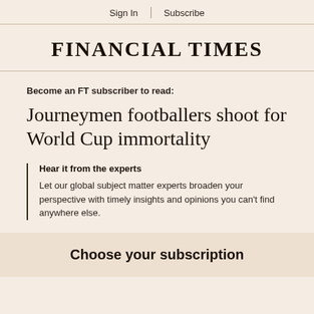Sign In | Subscribe
FINANCIAL TIMES
Become an FT subscriber to read:
Journeymen footballers shoot for World Cup immortality
Hear it from the experts
Let our global subject matter experts broaden your perspective with timely insights and opinions you can't find anywhere else.
Choose your subscription